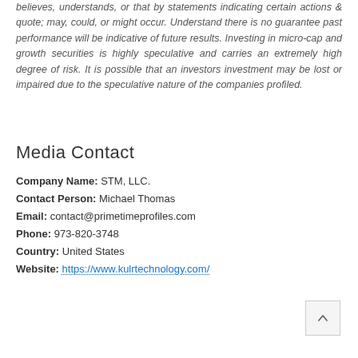believes, understands, or that by statements indicating certain actions & quote; may, could, or might occur. Understand there is no guarantee past performance will be indicative of future results. Investing in micro-cap and growth securities is highly speculative and carries an extremely high degree of risk. It is possible that an investors investment may be lost or impaired due to the speculative nature of the companies profiled.
Media Contact
Company Name: STM, LLC.
Contact Person: Michael Thomas
Email: contact@primetimeprofiles.com
Phone: 973-820-3748
Country: United States
Website: https://www.kulrtechnology.com/